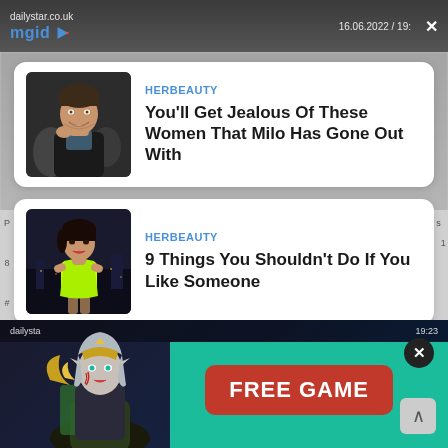dailystar.co.uk   16.06.2022 / 19:  mgid
HERBEAUTY
You'll Get Jealous Of These Women That Milo Has Gone Out With
HERBEAUTY
9 Things You Shouldn't Do If You Like Someone
[Figure (screenshot): Bottom advertisement banner showing a fantasy game character (female elf warrior) on the left and a red 'FREE GAME' button on the right, with a dark background and teal/green area. Shows dailystar url bar at top and 19:23 time. An X close button is visible.]